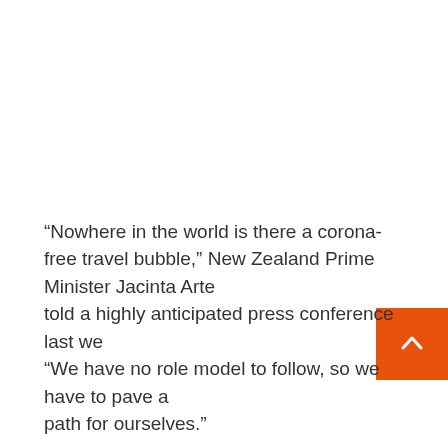“Nowhere in the world is there a corona-free travel bubble,” New Zealand Prime Minister Jacinta Ardern told a highly anticipated press conference last week. “We have no role model to follow, so we have to pave a path for ourselves.”